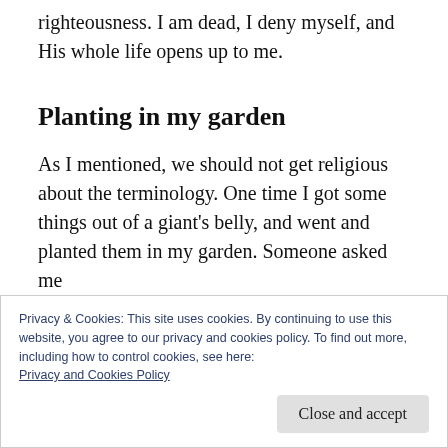righteousness. I am dead, I deny myself, and His whole life opens up to me.
Planting in my garden
As I mentioned, we should not get religious about the terminology. One time I got some things out of a giant's belly, and went and planted them in my garden. Someone asked me
something in the ground, it dies to you so that
Privacy & Cookies: This site uses cookies. By continuing to use this website, you agree to our privacy and cookies policy. To find out more, including how to control cookies, see here: Privacy and Cookies Policy
Close and accept